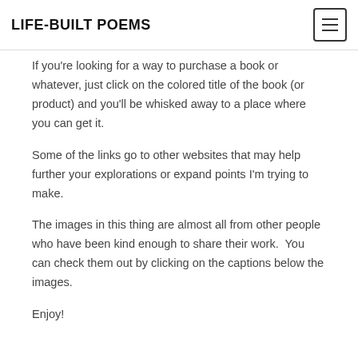LIFE-BUILT POEMS
If you're looking for a way to purchase a book or whatever, just click on the colored title of the book (or product) and you'll be whisked away to a place where you can get it.
Some of the links go to other websites that may help further your explorations or expand points I'm trying to make.
The images in this thing are almost all from other people who have been kind enough to share their work.  You can check them out by clicking on the captions below the images.
Enjoy!